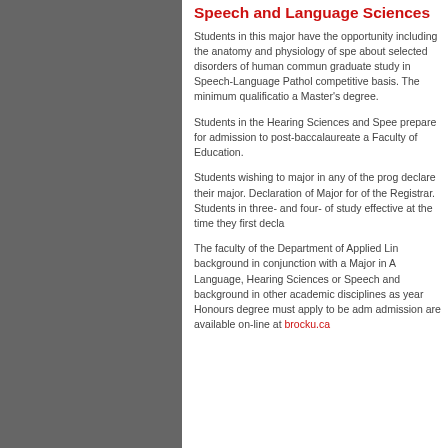Speech and Language Sciences
Students in this major have the opportunity including the anatomy and physiology of speech, about selected disorders of human communication, graduate study in Speech-Language Pathology on a competitive basis. The minimum qualification is a Master's degree.
Students in the Hearing Sciences and Speech program prepare for admission to post-baccalaureate programs at a Faculty of Education.
Students wishing to major in any of the programs must declare their major. Declaration of Major forms are available of the Registrar. Students in three- and four-year programs of study effective at the time they first declare.
The faculty of the Department of Applied Linguistics background in conjunction with a Major in Applied Language, Hearing Sciences or Speech and Language Sciences background in other academic disciplines as well. A four-year Honours degree must apply to be admitted. Details of admission are available on-line at brocku.ca